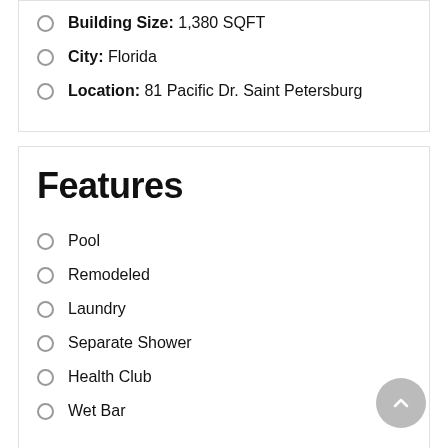Building Size: 1,380 SQFT
City: Florida
Location: 81 Pacific Dr. Saint Petersburg
Features
Pool
Remodeled
Laundry
Separate Shower
Health Club
Wet Bar